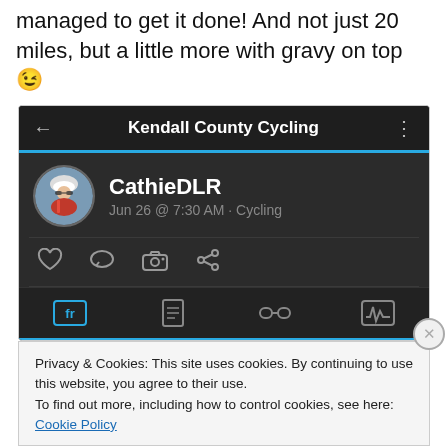managed to get it done! And not just 20 miles, but a little more with gravy on top 😉
[Figure (screenshot): Screenshot of a Kendall County Cycling app showing user CathieDLR's activity post dated Jun 26 @ 7:30 AM · Cycling, with action icons (like, comment, camera, share) and bottom navigation tabs. A cookie consent banner is overlaid at the bottom reading: Privacy & Cookies: This site uses cookies. By continuing to use this website, you agree to their use. To find out more, including how to control cookies, see here: Cookie Policy. A 'Close and accept' button appears at bottom right.]